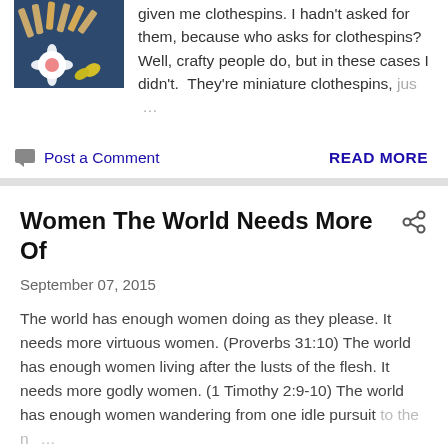given me clothespins. I hadn't asked for them, because who asks for clothespins? Well, crafty people do, but in these cases I didn't.  They're miniature clothespins, just …
Post a Comment
READ MORE
Women The World Needs More Of
September 07, 2015
The world has enough women doing as they please. It needs more virtuous women. (Proverbs 31:10) The world has enough women living after the lusts of the flesh. It needs more godly women. (1 Timothy 2:9-10) The world has enough women wandering from one idle pursuit to the n …